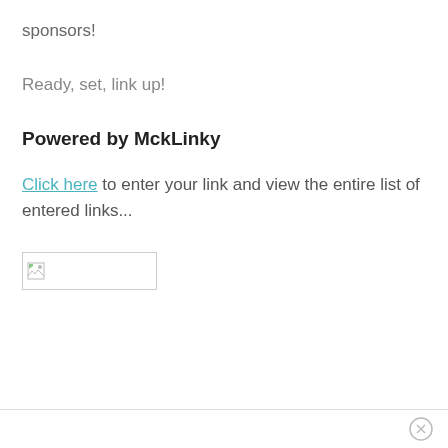sponsors!
Ready, set, link up!
Powered by MckLinky
Click here to enter your link and view the entire list of entered links...
[Figure (other): Broken image placeholder, small rectangle with border and broken image icon in top-left corner]